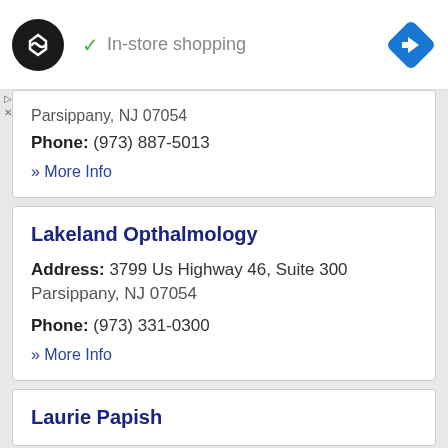In-store shopping
Parsippany, NJ 07054
Phone: (973) 887-5013
» More Info
Lakeland Opthalmology
Address: 3799 Us Highway 46, Suite 300 Parsippany, NJ 07054
Phone: (973) 331-0300
» More Info
Laurie Papish